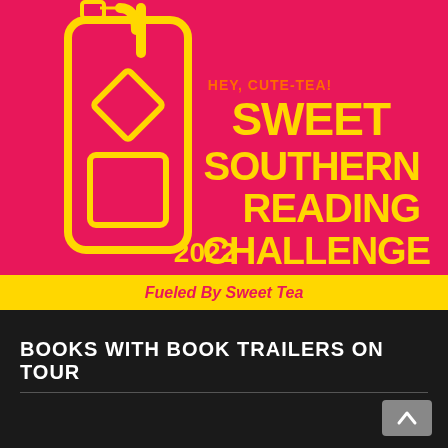[Figure (illustration): Sweet Southern Reading Challenge 2022 promotional banner. Hot pink/magenta background with a yellow outlined iced tea cup/tumbler with a straw and tea bag tag. Text reads 'HEY, CUTE-TEA!' in orange, 'SWEET SOUTHERN READING CHALLENGE' in large bold yellow text, '2022' in yellow, and 'Fueled By Sweet Tea' on a yellow strip at the bottom in pink text.]
BOOKS WITH BOOK TRAILERS ON TOUR